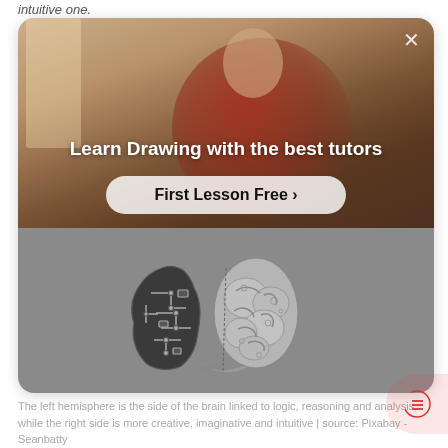intuitive one.
[Figure (screenshot): Advertisement card for drawing tutors with 'Learn Drawing with the best tutors' title and 'First Lesson Free' CTA button, overlaid on a photo of a person. Below is a gray section showing a brain illustration split between circuit-board left hemisphere and organic right hemisphere.]
The left hemisphere is the side of the brain linked to logic, reasoning and analysis, while the right side is more creative, imaginative and intuitive | source: Pixabay - Seanbatty
By stimulating your right brain with specific exercises, you improve your drawing ability without even working on your technique.